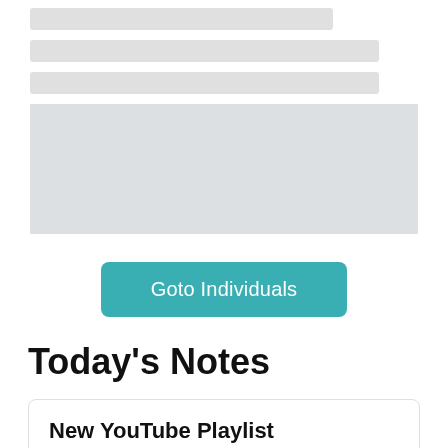[Figure (screenshot): Skeleton loading bars (3 gray horizontal bars of varying widths) representing loading content]
[Figure (screenshot): Large gray skeleton block representing a loading content area]
Goto Individuals
Today's Notes
New YouTube Playlist
Bhaktamar-Pachchees Bol, Logassa and Uvsaggahar Stotra training workshops
[Figure (screenshot): Video thumbnail preview showing a speaker with a dark background and text overlay]